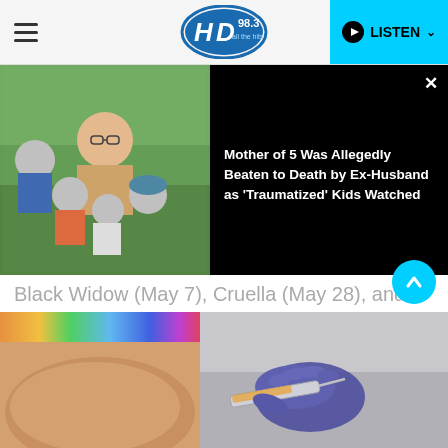HD 98.3 — LISTEN
[Figure (screenshot): Overlay notification showing a family photo (woman with 5 children, faces blurred) on left and news headline on dark background on right, with close X button]
Black Widow (May 7), Cruella (May 28), and Jungle Cruise (July 30).
[Figure (photo): Close-up photo of a person's arm receiving a vaccine injection from a gloved hand holding a syringe]